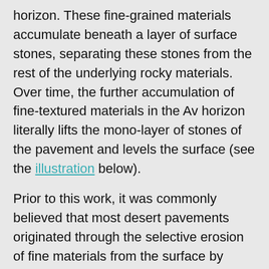horizon. These fine-grained materials accumulate beneath a layer of surface stones, separating these stones from the rest of the underlying rocky materials. Over time, the further accumulation of fine-textured materials in the Av horizon literally lifts the mono-layer of stones of the pavement and levels the surface (see the illustration below).
Prior to this work, it was commonly believed that most desert pavements originated through the selective erosion of fine materials from the surface by either wind or water, a process called deXation. However, such a process cannot explain the development of pavements in stony parent materials that initially lacked fine-grained materials (such as many coarse-grained alluvial fan deposits or areas of exposed bedrock, including basalt flows). Nor can it explain the